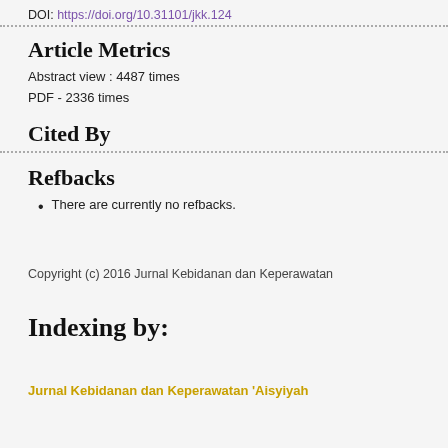DOI: https://doi.org/10.31101/jkk.124
Article Metrics
Abstract view : 4487 times
PDF - 2336 times
Cited By
Refbacks
There are currently no refbacks.
Copyright (c) 2016 Jurnal Kebidanan dan Keperawatan
Indexing by:
Jurnal Kebidanan dan Keperawatan 'Aisyiyah